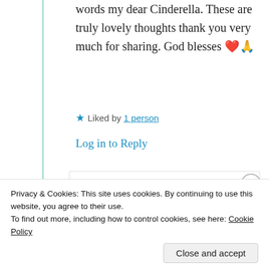words my dear Cinderella. These are truly lovely thoughts thank you very much for sharing. God blesses ❤️🙏
★ Liked by 1 person
Log in to Reply
Filarance
11th Jul 2021 at 9:15 am
Privacy & Cookies: This site uses cookies. By continuing to use this website, you agree to their use. To find out more, including how to control cookies, see here: Cookie Policy
Close and accept